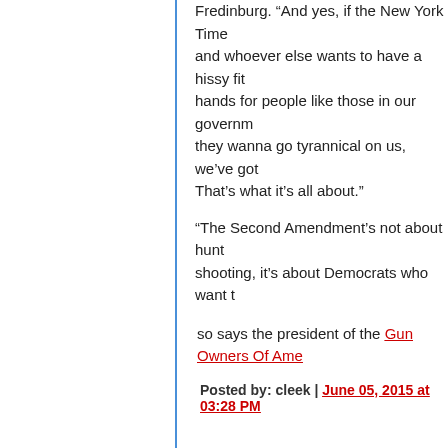Fredinburg. “And yes, if the New York Time and whoever else wants to have a hissy fit hands for people like those in our governm they wanna go tyrannical on us, we’ve got That’s what it’s all about.”
“The Second Amendment’s not about hunt shooting, it’s about Democrats who want t
so says the president of the Gun Owners Of Ame
Posted by: cleek | June 05, 2015 at 03:28 PM
what about all of the people who are basically OK and who don’t really want their government overth
do we get a voice in all of this “tree of liberty” bull
don’t make us use our outside voices.
Posted by: russell | June 05, 2015 at 03:33 PM
nope, the violent narcissistic jerks will decide for u
Posted by: cleek | June 05, 2015 at 03:42 PM